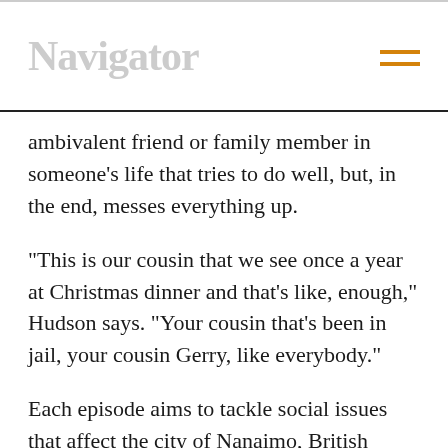Navigator
ambivalent friend or family member in someone's life that tries to do well, but, in the end, messes everything up.
“This is our cousin that we see once a year at Christmas dinner and that’s like, enough,” Hudson says. “Your cousin that’s been in jail, your cousin Gerry, like everybody.”
Each episode aims to tackle social issues that affect the city of Nanaimo, British Columbia, as well as Canada as a whole. In Episode 2, Knight and Hudson film at Nanaimo’s homeless